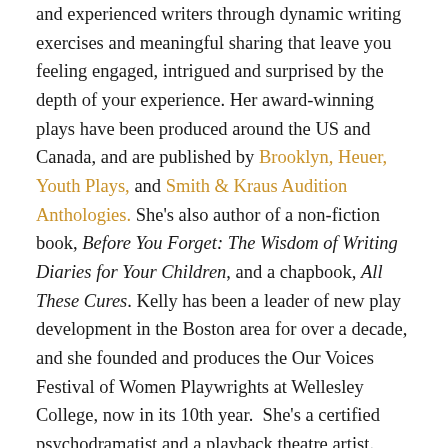and experienced writers through dynamic writing exercises and meaningful sharing that leave you feeling engaged, intrigued and surprised by the depth of your experience. Her award-winning plays have been produced around the US and Canada, and are published by Brooklyn, Heuer, Youth Plays, and Smith & Kraus Audition Anthologies. She's also author of a non-fiction book, Before You Forget: The Wisdom of Writing Diaries for Your Children, and a chapbook, All These Cures. Kelly has been a leader of new play development in the Boston area for over a decade, and she founded and produces the Our Voices Festival of Women Playwrights at Wellesley College, now in its 10th year. She's a certified psychodramatist and a playback theatre artist. Kelly is honored to serve on the board of The International Women's Writing Guild and the TLA Council, and she facilitates Let's Talk TLA, a bi-monthly teleconference